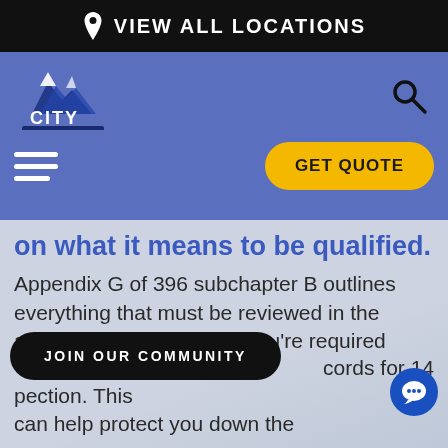VIEW ALL LOCATIONS
[Figure (logo): City Rent A Truck logo - mountain/city skyline icon with text CITY RENT A TRUCK]
GET QUOTE
on what it means to be qualified.
Appendix G of 396 subchapter B outlines everything that must be reviewed in the annual inspection. Note: You're required to keep records for 14 months after the inspection. This can help protect you down the
JOIN OUR COMMUNITY